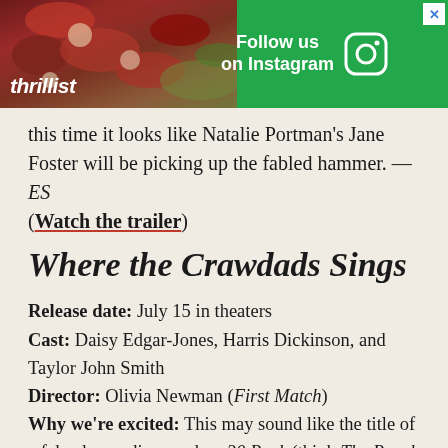[Figure (screenshot): Thrillist advertisement banner with food background and 'Follow us on Instagram' call to action]
this time it looks like Natalie Portman's Jane Foster will be picking up the fabled hammer. —ES (Watch the trailer)
Where the Crawdads Sings
Release date: July 15 in theaters
Cast: Daisy Edgar-Jones, Harris Dickinson, and Taylor John Smith
Director: Olivia Newman (First Match)
Why we're excited: This may sound like the title of a fake drama discussed on 30 Rock (think The Rural Juror), but it is in fact a real movie based on Delia Owens' bestselling novel of the same name. Daisy Edgar-Jones' career has really taken off since 2020's